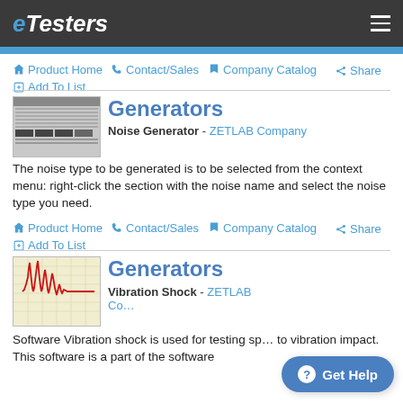eTesters
Product Home  Contact/Sales  Company Catalog  Share  Add To List
[Figure (screenshot): Thumbnail screenshot of a noise generator software interface showing a table/grid UI]
Generators
Noise Generator - ZETLAB Company
The noise type to be generated is to be selected from the context menu: right-click the section with the noise name and select the noise type you need.
Product Home  Contact/Sales  Company Catalog  Share  Add To List
[Figure (screenshot): Thumbnail screenshot of vibration shock software showing a red waveform on a grid background]
Generators
Vibration Shock - ZETLAB Co...
Software Vibration shock is used for testing sp... to vibration impact. This software is a part of the software